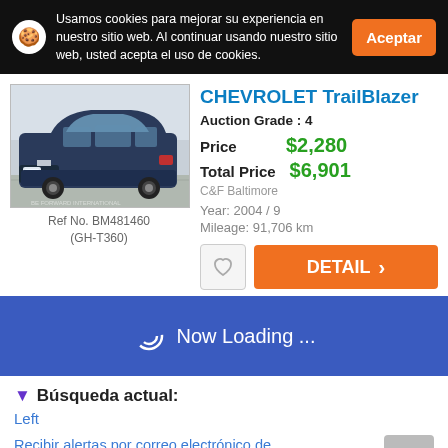Usamos cookies para mejorar su experiencia en nuestro sitio web. Al continuar usando nuestro sitio web, usted acepta el uso de cookies.
Aceptar
[Figure (photo): Photo of a dark blue Chevrolet TrailBlazer SUV parked in a lot, front 3/4 view]
Ref No. BM481460 (GH-T360)
CHEVROLET TrailBlazer
Auction Grade : 4
Price  $2,280
Total Price  $6,901
C&F Baltimore
Year: 2004 / 9
Mileage: 91,706 km
DETAIL
Now Loading ...
Búsqueda actual:
Left
Recibir alertas por correo electrónico de vehículos nuevos
GUARDAR BÚSQUEDA